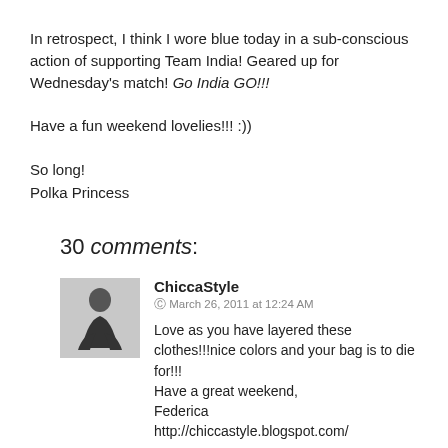In retrospect, I think I wore blue today in a sub-conscious action of supporting Team India! Geared up for Wednesday's match! Go India GO!!!
Have a fun weekend lovelies!!! :))
So long!
Polka Princess
30 comments:
ChiccaStyle
March 26, 2011 at 12:24 AM
Love as you have layered these clothes!!!nice colors and your bag is to die for!!!
Have a great weekend,
Federica
http://chiccastyle.blogspot.com/
Reply